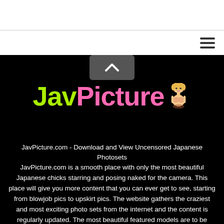[Figure (logo): JavPicture logo with green 'Jav' text, pink 'Picture' text, and a small anime-style female figure icon on black background]
JavPicture.com - Download and View Uncensored Japanese Photosets
JavPicture.com is a smooth place with only the most beautiful Japanese chicks starring and posing naked for the camera. This place will give you more content that you can ever get to see, starting from blowjob pics to upskirt pics. The website gathers the craziest and most exciting photo sets from the internet and the content is regularly updated. The most beautiful featured models are to be found on the top of the page where each click